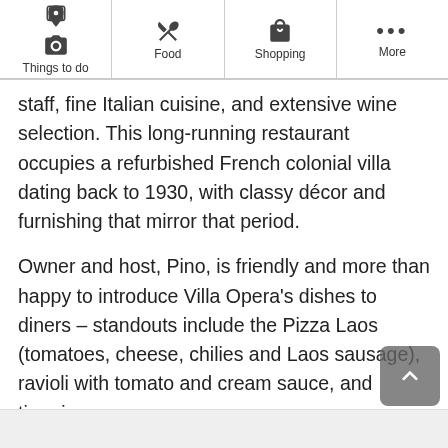Things to do | Food | Shopping | More
staff, fine Italian cuisine, and extensive wine selection. This long-running restaurant occupies a refurbished French colonial villa dating back to 1930, with classy décor and furnishing that mirror that period.
Owner and host, Pino, is friendly and more than happy to introduce Villa Opera's dishes to diners – standouts include the Pizza Laos (tomatoes, cheese, chilies and Laos sausage), ravioli with tomato and cream sauce, and tiramisu.
Location: 42 Rue Panya Sri Si Thane Nuea, Vientiane 0100 Laos
Open: Daily from 11am to 2pm and from 6pm to 10pm
Phone: +856 21 215 099